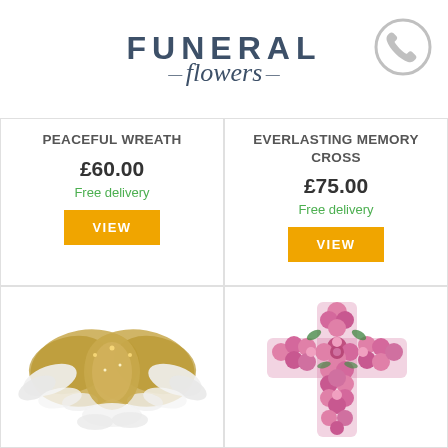FUNERAL flowers
PEACEFUL WREATH
£60.00
Free delivery
VIEW
EVERLASTING MEMORY CROSS
£75.00
Free delivery
VIEW
[Figure (photo): Gold glitter angel wings with white feather trim funeral tribute]
[Figure (photo): Pink flower cross funeral tribute arrangement]